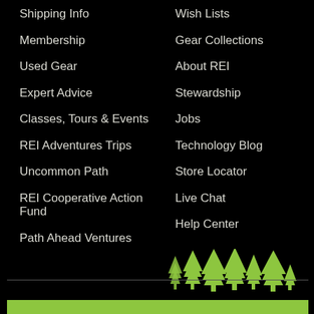Shipping Info
Wish Lists
Membership
Gear Collections
Used Gear
About REI
Expert Advice
Stewardship
Classes, Tours & Events
Jobs
REI Adventures Trips
Technology Blog
Uncommon Path
Store Locator
REI Cooperative Action Fund
Live Chat
Help Center
Path Ahead Ventures
[Figure (illustration): Green illustrated pine trees of various sizes forming a forest silhouette at the bottom of the navigation area]